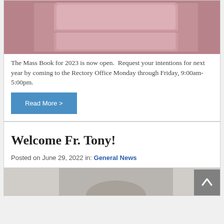[Figure (photo): Photo of pink/mauve book or card on textured fabric background]
The Mass Book for 2023 is now open.  Request your intentions for next year by coming to the Rectory Office Monday through Friday, 9:00am-5:00pm.
Read More >
Welcome Fr. Tony!
Posted on June 29, 2022 in: General News
[Figure (photo): Partial photo at bottom of page, appears to show a person]